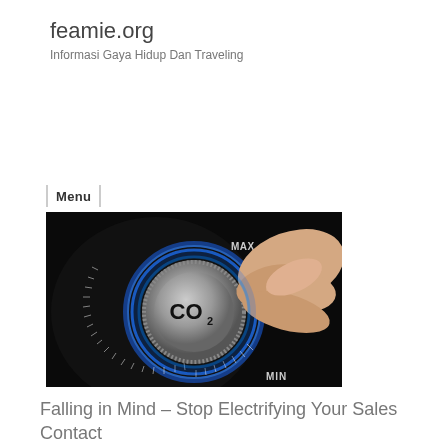feamie.org
Informasi Gaya Hidup Dan Traveling
Menu
[Figure (photo): A close-up photo of a metallic dial/knob labeled CO2 with blue glowing light, being turned by a human hand. The dial has tick marks and shows MAX and MIN labels, set against a dark black background.]
Falling in Mind – Stop Electrifying Your Sales Contact